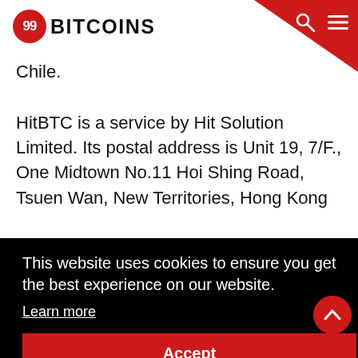99BITCOINS
Chile.
HitBTC is a service by Hit Solution Limited. Its postal address is Unit 19, 7/F., One Midtown No.11 Hoi Shing Road, Tsuen Wan, New Territories, Hong Kong
This website uses cookies to ensure you get the best experience on our website.
Learn more
Accept
flags. Personally and especially after what I've been